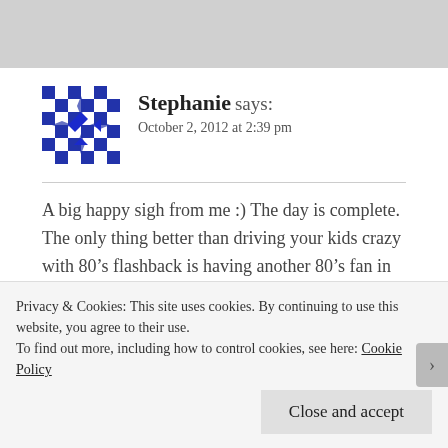[Figure (illustration): Blue geometric/quilt-pattern avatar icon for user Stephanie]
Stephanie says:
October 2, 2012 at 2:39 pm
A big happy sigh from me :) The day is complete. The only thing better than driving your kids crazy with 80’s flashback is having another 80’s fan in the car with you. I will partake anytime you wish. I am with you and Missindeedy. Please invent the umbrella holder thingy. What a pain!! The days of no diapers are so far for me right now I can’t even go there :) Those pictures of
Privacy & Cookies: This site uses cookies. By continuing to use this website, you agree to their use.
To find out more, including how to control cookies, see here: Cookie Policy